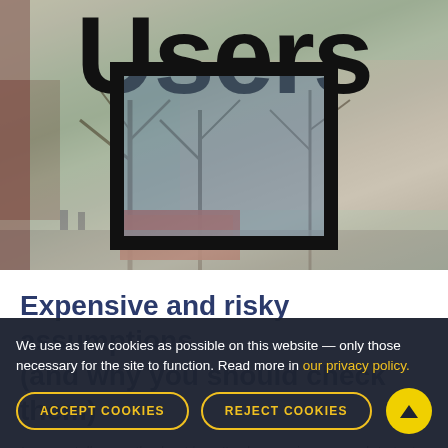[Figure (photo): Photo of a street scene through a window with large 'Users' text overlaid at top, showing bare winter trees, buildings, and a red London bus. A tablet/monitor frame is visible in the lower portion of the photo.]
Expensive and risky assumptions (and why you should check them)
We use as few cookies as possible on this website — only those necessary for the site to function. Read more in our privacy policy.
ACCEPT COOKIES
REJECT COOKIES